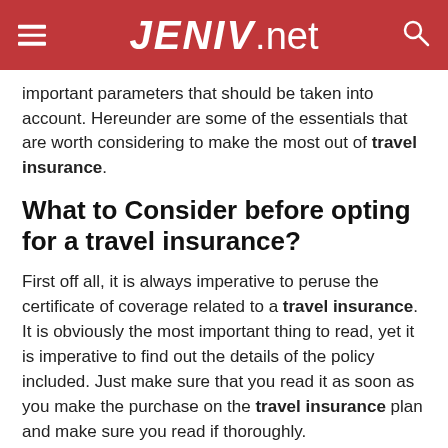JENIV.net
important parameters that should be taken into account. Hereunder are some of the essentials that are worth considering to make the most out of travel insurance.
What to Consider before opting for a travel insurance?
First off all, it is always imperative to peruse the certificate of coverage related to a travel insurance. It is obviously the most important thing to read, yet it is imperative to find out the details of the policy included. Just make sure that you read it as soon as you make the purchase on the travel insurance plan and make sure you read if thoroughly.
Another important point is to highlight the portions which you consider the most essential to you. By doing that, you